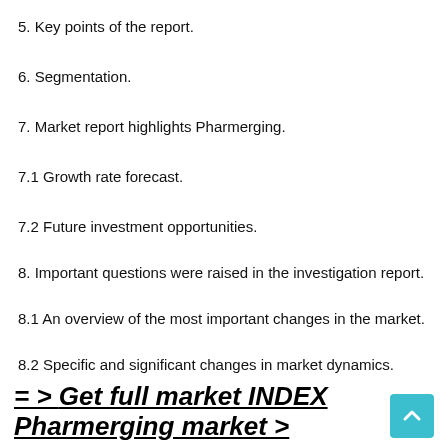5. Key points of the report.
6. Segmentation.
7. Market report highlights Pharmerging.
7.1 Growth rate forecast.
7.2 Future investment opportunities.
8. Important questions were raised in the investigation report.
8.1 An overview of the most important changes in the market.
8.2 Specific and significant changes in market dynamics.
= > Get full market INDEX Pharmerging market >